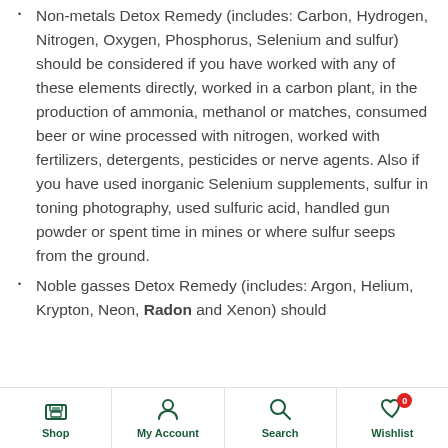Non-metals Detox Remedy (includes: Carbon, Hydrogen, Nitrogen, Oxygen, Phosphorus, Selenium and sulfur) should be considered if you have worked with any of these elements directly, worked in a carbon plant, in the production of ammonia, methanol or matches, consumed beer or wine processed with nitrogen, worked with fertilizers, detergents, pesticides or nerve agents. Also if you have used inorganic Selenium supplements, sulfur in toning photography, used sulfuric acid, handled gun powder or spent time in mines or where sulfur seeps from the ground.
Noble gasses Detox Remedy (includes: Argon, Helium, Krypton, Neon, Radon and Xenon) should
Shop | My Account | Search | Wishlist